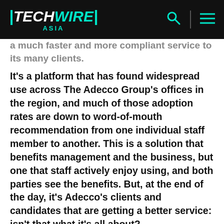TechWire Asia
a much faster and more compliant service to its many clients.
It's a platform that has found widespread use across The Adecco Group's offices in the region, and much of those adoption rates are down to word-of-mouth recommendation from one individual staff member to another. This is a solution that benefits management and the business, but one that staff actively enjoy using, and both parties see the benefits. But, at the end of the day, it's Adecco's clients and candidates that are getting a better service: isn't that what it's all about?
How will your company transform its own world of